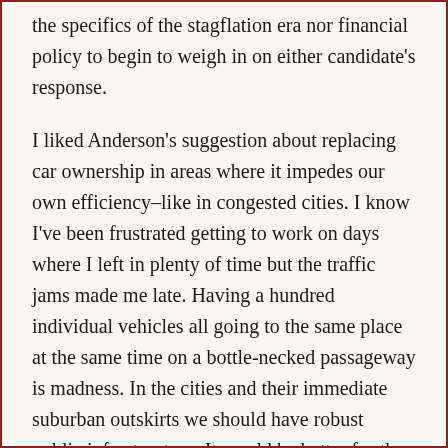the specifics of the stagflation era nor financial policy to begin to weigh in on either candidate's response.
I liked Anderson's suggestion about replacing car ownership in areas where it impedes our own efficiency–like in congested cities. I know I've been frustrated getting to work on days where I left in plenty of time but the traffic jams made me late. Having a hundred individual vehicles all going to the same place at the same time on a bottle-necked passageway is madness. In the cities and their immediate suburban outskirts we should have robust public infrastructure. It would be better for the environment, time and our collective sanity.
Both candidates believe in a voluntary military. Anderson goes into the problems facing servicemen when they come home and the need to incentivize military volunteers with decent programs to take care